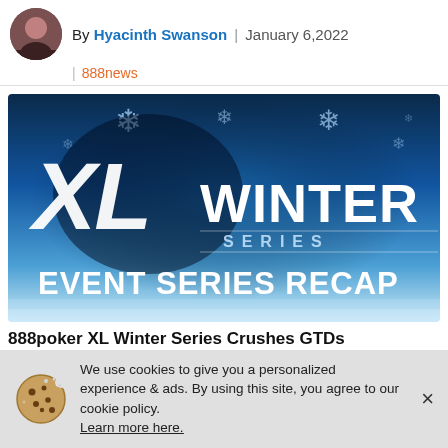By Hyacinth Swanson | January 6,2022
| 888news
[Figure (photo): XL Winter Series Event Series Recap promotional banner with snowflakes on a blue icy background]
888poker XL Winter Series Crushes GTDs
We use cookies to give you a personalized experience & ads. By using this site, you agree to our cookie policy. Learn more here.